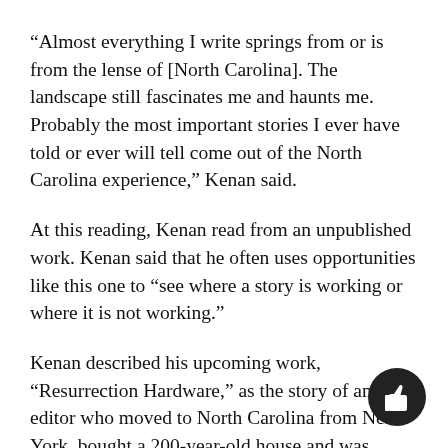“Almost everything I write springs from or is from the lense of [North Carolina]. The landscape still fascinates me and haunts me. Probably the most important stories I ever have told or ever will tell come out of the North Carolina experience,” Kenan said.
At this reading, Kenan read from an unpublished work. Kenan said that he often uses opportunities like this one to “see where a story is working or where it is not working.”
Kenan described his upcoming work, “Resurrection Hardware,” as the story of an editor who moved to North Carolina from New York, bought a 200-year-old house and was visited by ghosts from the antebellum era, which led him understand the house’s history and part of his